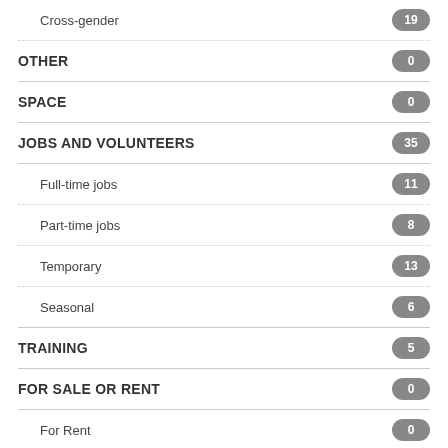Cross-gender — 19
OTHER — 0
SPACE — 0
JOBS AND VOLUNTEERS — 35
Full-time jobs — 11
Part-time jobs — 8
Temporary — 13
Seasonal — 6
TRAINING — 5
FOR SALE OR RENT — 0
For Rent — 0
For Sale — 0